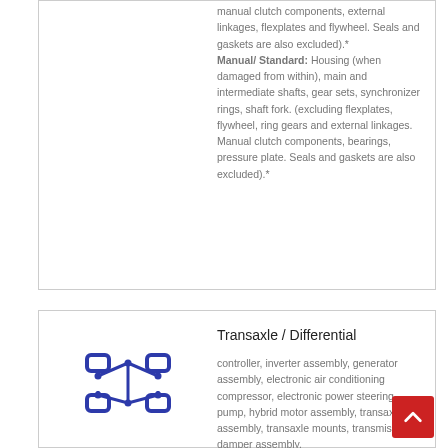manual clutch components, external linkages, flexplates and flywheel. Seals and gaskets are also excluded).* Manual/ Standard: Housing (when damaged from within), main and intermediate shafts, gear sets, synchronizer rings, shaft fork. (excluding flexplates, flywheel, ring gears and external linkages. Manual clutch components, bearings, pressure plate. Seals and gaskets are also excluded).*
Transaxle / Differential
[Figure (illustration): Blue icon of a transaxle / differential gear component with circular nodes connected by rectangular links]
controller, inverter assembly, generator assembly, electronic air conditioning compressor, electronic power steering pump, hybrid motor assembly, transaxle assembly, transaxle mounts, transmission damper assembly.